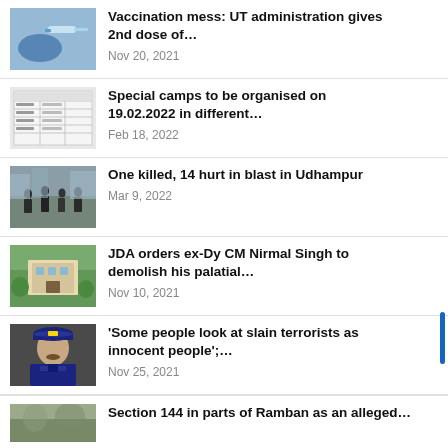Vaccination mess: UT administration gives 2nd dose of… — Nov 20, 2021
Special camps to be organised on 19.02.2022 in different… — Feb 18, 2022
One killed, 14 hurt in blast in Udhampur — Mar 9, 2022
JDA orders ex-Dy CM Nirmal Singh to demolish his palatial… — Nov 10, 2021
'Some people look at slain terrorists as innocent people';… — Nov 25, 2021
Section 144 in parts of Ramban as an alleged…